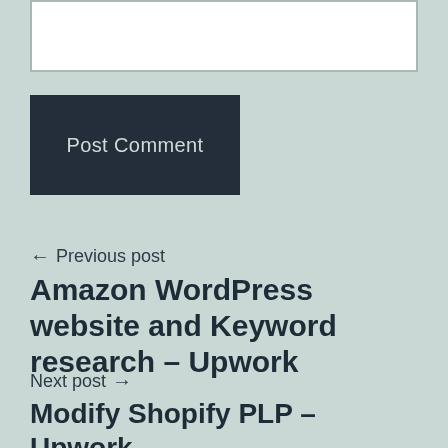[Figure (other): White text input box (comment textarea)]
Post Comment
← Previous post
Amazon WordPress website and Keyword research – Upwork
Next post →
Modify Shopify PLP – Upwork